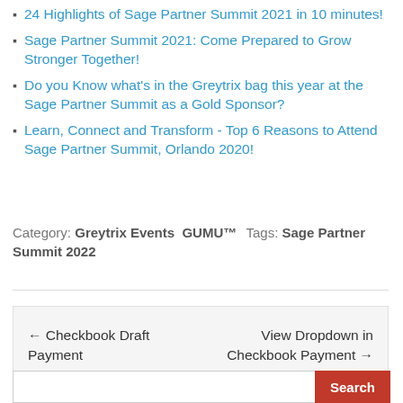24 Highlights of Sage Partner Summit 2021 in 10 minutes!
Sage Partner Summit 2021: Come Prepared to Grow Stronger Together!
Do you Know what's in the Greytrix bag this year at the Sage Partner Summit as a Gold Sponsor?
Learn, Connect and Transform - Top 6 Reasons to Attend Sage Partner Summit, Orlando 2020!
Category: Greytrix Events GUMU™ Tags: Sage Partner Summit 2022
← Checkbook Draft Payment   View Dropdown in Checkbook Payment →
Search